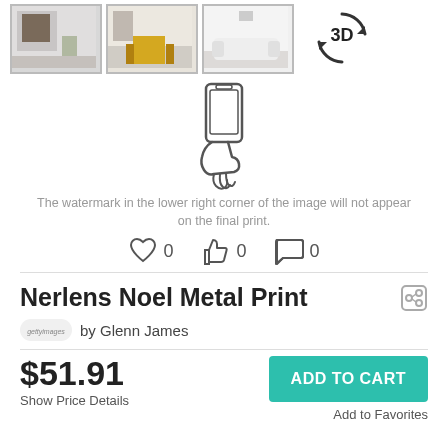[Figure (screenshot): Four product thumbnail images at top: three room scene photos and a 3D rotation icon]
[Figure (illustration): Hand holding a smartphone icon (outline style)]
The watermark in the lower right corner of the image will not appear on the final print.
[Figure (infographic): Social interaction row with heart icon (0), thumbs up icon (0), and chat bubble icon (0)]
Nerlens Noel Metal Print
by Glenn James
$51.91
Show Price Details
ADD TO CART
Add to Favorites